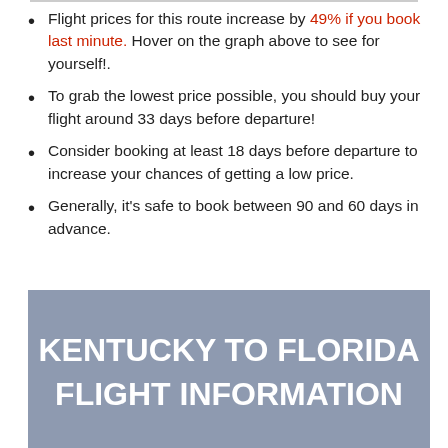Flight prices for this route increase by 49% if you book last minute. Hover on the graph above to see for yourself!.
To grab the lowest price possible, you should buy your flight around 33 days before departure!
Consider booking at least 18 days before departure to increase your chances of getting a low price.
Generally, it's safe to book between 90 and 60 days in advance.
KENTUCKY TO FLORIDA FLIGHT INFORMATION
Flights Depart From